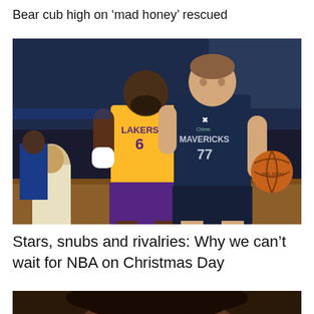Bear cub high on ‘mad honey’ rescued
[Figure (photo): Basketball game photo showing a Lakers player wearing jersey number 6 defending against a Mavericks player wearing jersey number 77 dribbling the ball]
Stars, snubs and rivalries: Why we can’t wait for NBA on Christmas Day
[Figure (photo): Partial photo showing the top of a person's head with curly hair, cropped at bottom of page]